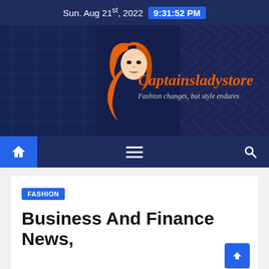Sun. Aug 21st, 2022  9:31:52 PM
[Figure (logo): Captainsladystore website hero banner with logo — a stylized woman face with orange hair, brand name 'Captainsladystore' in orange italic script, tagline 'Fashion changes, but style endures', overlaid on blurred city buildings background]
[Figure (screenshot): Navigation bar with blue home icon button, hamburger menu icon, and search icon on dark navy background]
FASHION
Business And Finance News,